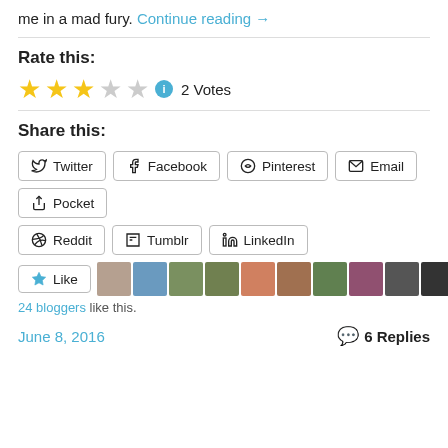me in a mad fury. Continue reading →
Rate this:
★★★☆☆  2 Votes
Share this:
Twitter | Facebook | Pinterest | Email | Pocket | Reddit | Tumblr | LinkedIn
Like | 24 bloggers like this.
June 8, 2016   6 Replies